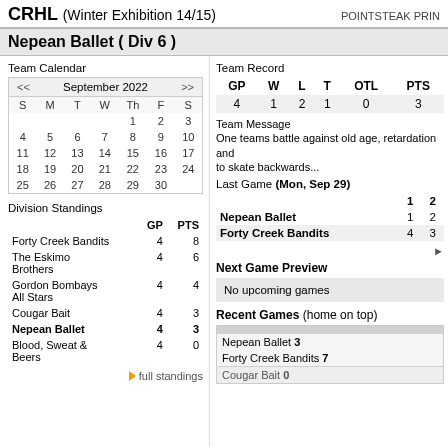CRHL (Winter Exhibition 14/15) — POINTSTEAK PRIN
Nepean Ballet ( Div 6 )
Team Calendar
| S | M | T | W | Th | F | S |
| --- | --- | --- | --- | --- | --- | --- |
|  |  |  | 1 | 2 | 3 |
| 4 | 5 | 6 | 7 | 8 | 9 | 10 |
| 11 | 12 | 13 | 14 | 15 | 16 | 17 |
| 18 | 19 | 20 | 21 | 22 | 23 | 24 |
| 25 | 26 | 27 | 28 | 29 | 30 |  |
Division Standings
|  | GP | PTS |
| --- | --- | --- |
| Forty Creek Bandits | 4 | 8 |
| The Eskimo Brothers | 4 | 6 |
| Gordon Bombays All Stars | 4 | 4 |
| Cougar Bait | 4 | 3 |
| Nepean Ballet | 4 | 3 |
| Blood, Sweat & Beers | 4 | 0 |
full standings
Team Record
| GP | W | L | T | OTL | PTS |
| --- | --- | --- | --- | --- | --- |
| 4 | 1 | 2 | 1 | 0 | 3 |
Team Message
One teams battle against old age, retardation and to skate backwards...
Last Game (Mon, Sep 29)
|  | 1 | 2 |
| --- | --- | --- |
| Nepean Ballet | 1 | 2 |
| Forty Creek Bandits | 4 | 3 |
Next Game Preview
No upcoming games
Recent Games (home on top)
Nepean Ballet 3
Forty Creek Bandits 7